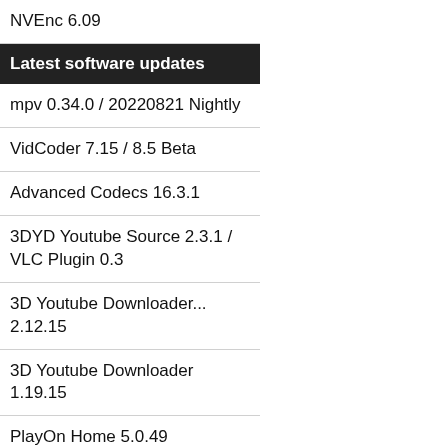NVEnc 6.09
Latest software updates
mpv 0.34.0 / 20220821 Nightly
VidCoder 7.15 / 8.5 Beta
Advanced Codecs 16.3.1
3DYD Youtube Source 2.3.1 / VLC Plugin 0.3
3D Youtube Downloader... 2.12.15
3D Youtube Downloader 1.19.15
PlayOn Home 5.0.49
Vidiot 0.3.36
4K Video Downloader 4.21.2
LAV Filters 0.76.1 / 0.76.1-11 Nightly
Recent DVD Hacks
LG BP350
LG BP250
LG UX806RC